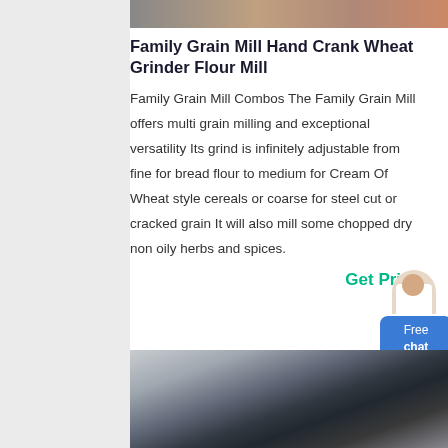[Figure (photo): Top portion of a product image showing machinery or equipment]
Family Grain Mill Hand Crank Wheat Grinder Flour Mill
Family Grain Mill Combos The Family Grain Mill offers multi grain milling and exceptional versatility Its grind is infinitely adjustable from fine for bread flour to medium for Cream Of Wheat style cereals or coarse for steel cut or cracked grain It will also mill some chopped dry non oily herbs and spices.
Get Price
[Figure (photo): Industrial grain milling equipment inside a large warehouse with a dark cylindrical mill machine on a metal frame structure]